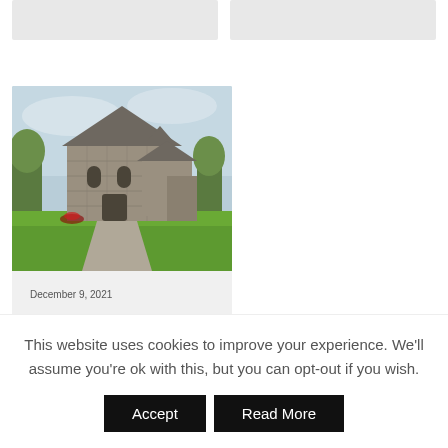[Figure (photo): Two placeholder card images at top of page, gray rectangles]
[Figure (photo): Photo of Ballintubber Abbey, a historic stone church building with green lawn and trees in background]
December 9, 2021
Ballintubber Abbey
This website uses cookies to improve your experience. We'll assume you're ok with this, but you can opt-out if you wish.
Accept
Read More